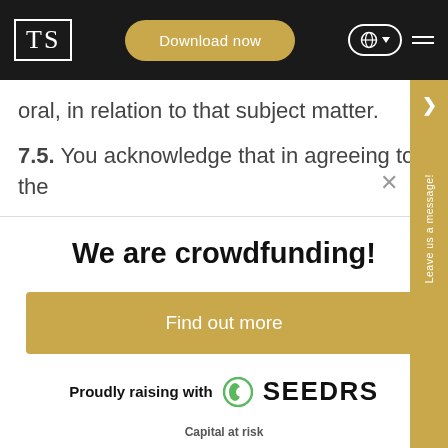TS | Download now | (globe) | menu
oral, in relation to that subject matter.
7.5. You acknowledge that in agreeing to the
We are crowdfunding!
Find out more
Proudly raising with SEEDRS
Capital at risk
This has been approved as a financial promotion by Seedrs Limited, which is authorised and regulated by the Financial Conduct Authority.